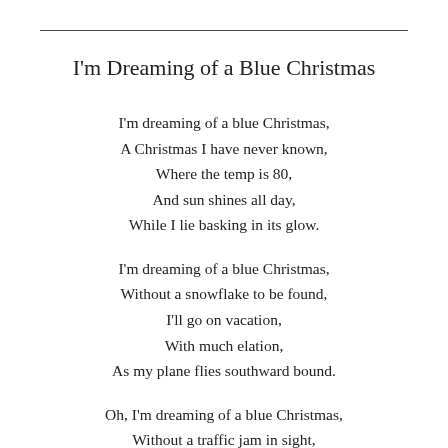I'm Dreaming of a Blue Christmas
I'm dreaming of a blue Christmas,
A Christmas I have never known,
Where the temp is 80,
And sun shines all day,
While I lie basking in its glow.
I'm dreaming of a blue Christmas,
Without a snowflake to be found,
I'll go on vacation,
With much elation,
As my plane flies southward bound.
Oh, I'm dreaming of a blue Christmas,
Without a traffic jam in sight,
No one aggravates me,
Or spikes my BP,
When I drive island roads at night.